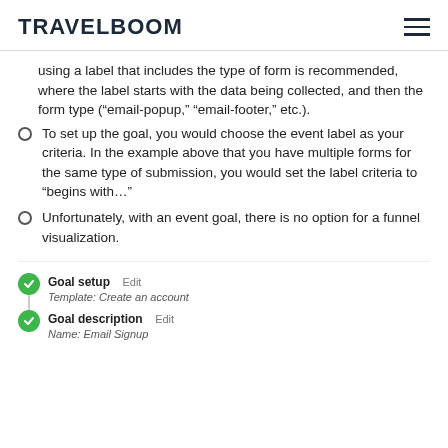TRAVELBOOM
using a label that includes the type of form is recommended, where the label starts with the data being collected, and then the form type (“email-popup,” “email-footer,” etc.).
To set up the goal, you would choose the event label as your criteria. In the example above that you have multiple forms for the same type of submission, you would set the label criteria to “begins with…”
Unfortunately, with an event goal, there is no option for a funnel visualization.
[Figure (screenshot): Google Analytics goal setup screenshot showing two steps: 'Goal setup' with template 'Create an account' and 'Goal description' with name 'Email Signup', each marked with a green checkmark icon and an Edit link, connected by a vertical line.]